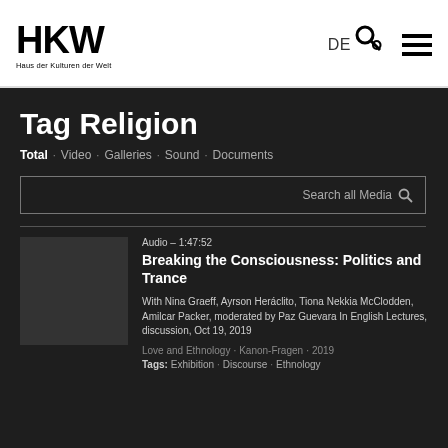HKW Haus der Kulturen der Welt
Tag Religion
Total · Video · Galleries · Sound · Documents
Search all Media
Audio – 1:47:52
Breaking the Consciousness: Politics and Trance
With Nina Graeff, Ayrson Heráclito, Tiona Nekkia McClodden, Amilcar Packer, moderated by Paz Guevara In English Lectures, discussion, Oct 19, 2019
Love and Ethnology · Kanon-Fragen · 2019
Tags: Exhibition · Discourse · Ethnology